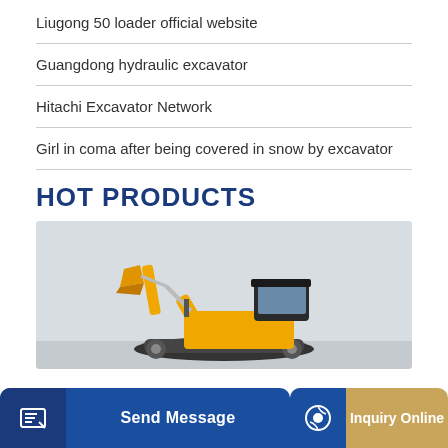Liugong 50 loader official website
Guangdong hydraulic excavator
Hitachi Excavator Network
Girl in coma after being covered in snow by excavator
HOT PRODUCTS
[Figure (photo): Photo of a yellow mini excavator with a raised arm/bucket against a light grey background]
Send Message
Inquiry Online